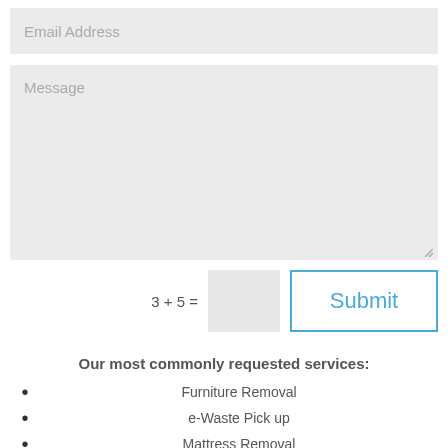Email Address
Message
3 + 5 =
Submit
Our most commonly requested services:
Furniture Removal
e-Waste Pick up
Mattress Removal